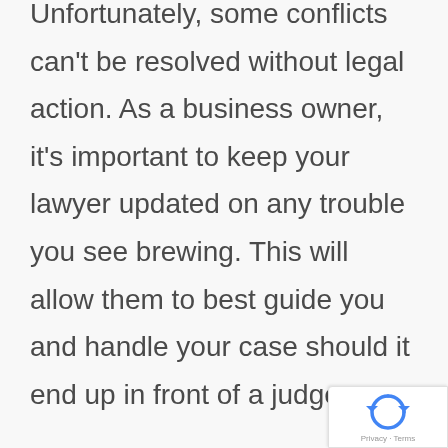Unfortunately, some conflicts can't be resolved without legal action. As a business owner, it's important to keep your lawyer updated on any trouble you see brewing. This will allow them to best guide you and handle your case should it end up in front of a judge.
Heading into the courtroom can be terrifying. Your lawyer will be with you every step of the way to help guide you through the legal process. They can also